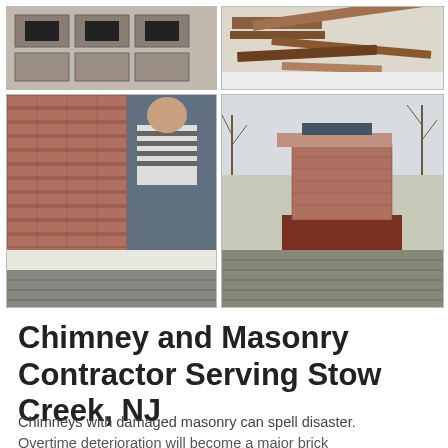[Figure (photo): Top-left photo: concrete blocks or chimney crown with square voids, damaged masonry close-up]
[Figure (photo): Top-right photo: rusted metal flashing or chimney cap pieces on a light background]
[Figure (photo): Bottom-left photo: worker in striped shirt repairing brick chimney flashing on a shingled roof, white metal flashing visible]
[Figure (photo): Bottom-right photo: completed brick chimney with cap on a shingled roof, bare winter trees in background]
Chimney and Masonry Contractor Serving Stow Creek, NJ
Chimneys with damaged masonry can spell disaster. Overtime deterioration will become a major brick...